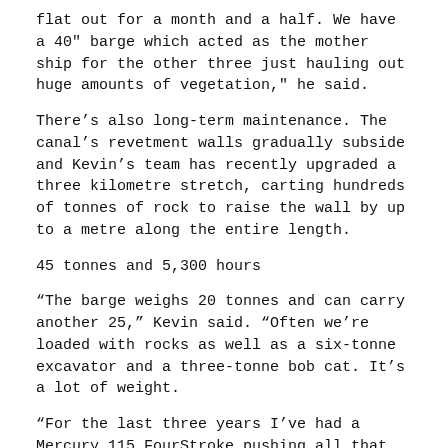flat out for a month and a half. We have a 40" barge which acted as the mother ship for the other three just hauling out huge amounts of vegetation," he said.
There's also long-term maintenance. The canal's revetment walls gradually subside and Kevin's team has recently upgraded a three kilometre stretch, carting hundreds of tonnes of rock to raise the wall by up to a metre along the entire length.
45 tonnes and 5,300 hours
"The barge weighs 20 tonnes and can carry another 25," Kevin said. "Often we're loaded with rocks as well as a six-tonne excavator and a three-tonne bob cat. It's a lot of weight.
"For the last three years I've had a Mercury 115 FourStroke pushing all that which has now done 5,300 hours.
"It's all about torque for us, not top end speed, but you just